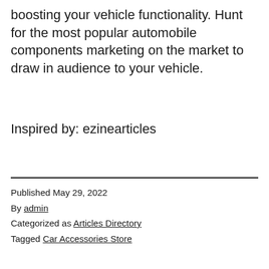boosting your vehicle functionality. Hunt for the most popular automobile components marketing on the market to draw in audience to your vehicle.
Inspired by: ezinearticles
Published May 29, 2022
By admin
Categorized as Articles Directory
Tagged Car Accessories Store